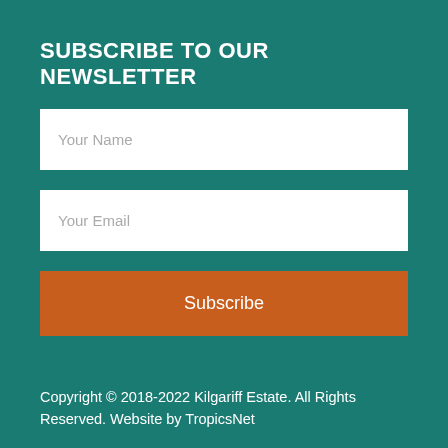SUBSCRIBE TO OUR NEWSLETTER
Your Name
Your Email
Subscribe
Copyright © 2018-2022 Kilgariff Estate. All Rights Reserved. Website by TropicsNet
[Figure (logo): Land Development Corporation logo with crescent moon circle icon and text LAND DEVELOPMENT CORPORATION]